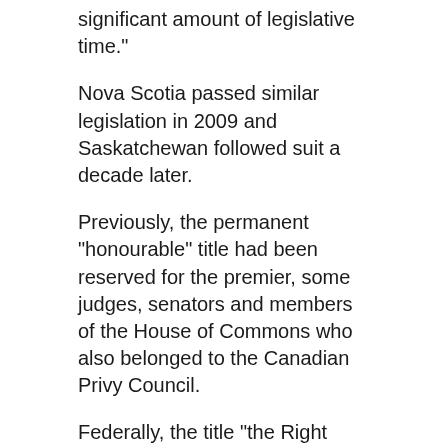significant amount of legislative time."
Nova Scotia passed similar legislation in 2009 and Saskatchewan followed suit a decade later.
Previously, the permanent "honourable" title had been reserved for the premier, some judges, senators and members of the House of Commons who also belonged to the Canadian Privy Council.
Federally, the title "the Right Honourable" applies for life to the governor general, prime minister and chief justice of Canada.
RELATED IMAGES
[Figure (photo): Blue image area shown at bottom of page under RELATED IMAGES section]